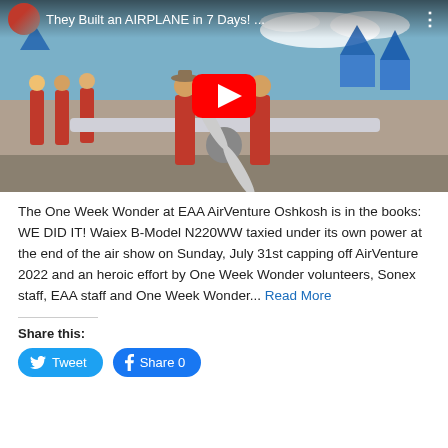[Figure (screenshot): YouTube video thumbnail showing people in red shirts at EAA AirVenture Oshkosh holding an airplane propeller, with a YouTube play button overlay. Title reads 'They Built an AIRPLANE in 7 Days! ...']
The One Week Wonder at EAA AirVenture Oshkosh is in the books: WE DID IT! Waiex B-Model N220WW taxied under its own power at the end of the air show on Sunday, July 31st capping off AirVenture 2022 and an heroic effort by One Week Wonder volunteers, Sonex staff, EAA staff and One Week Wonder... Read More
Share this:
Tweet
Share 0